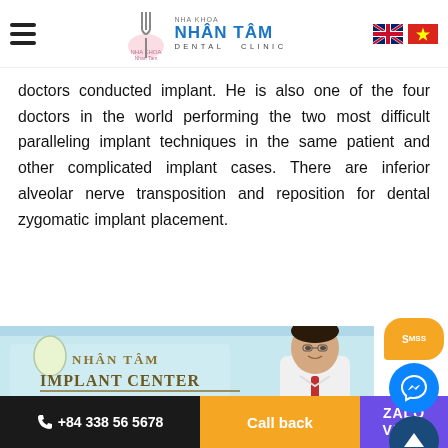NHA KHOA NHAN TAM DENTAL CLINIC
doctors conducted implant. He is also one of the four doctors in the world performing the two most difficult paralleling implant techniques in the same patient and other complicated implant cases. There are inferior alveolar nerve transposition and reposition for dental zygomatic implant placement.
[Figure (photo): Doctor in white coat standing in front of Nhan Tam Implant Center sign]
+84 338 56 5678 | Call back | ZALO VBER